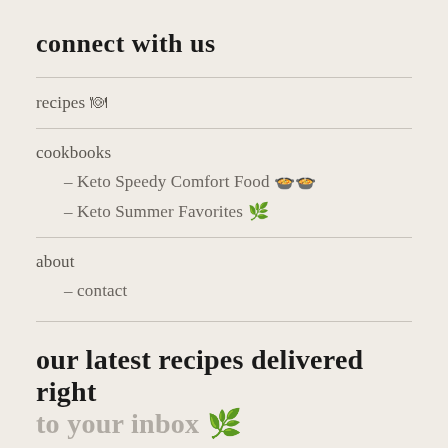connect with us
recipes 🍽
cookbooks
– Keto Speedy Comfort Food 🍲🍲
– Keto Summer Favorites 🌿
about
– contact
our latest recipes delivered right
to your inbox 🌿
First Name